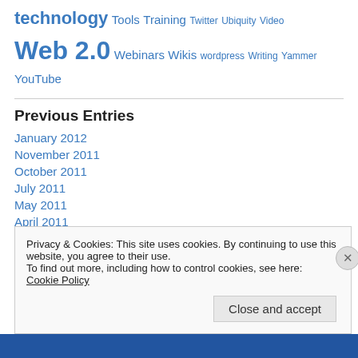technology Tools Training Twitter Ubiquity Video Web 2.0 Webinars Wikis wordpress Writing Yammer YouTube
Previous Entries
January 2012
November 2011
October 2011
July 2011
May 2011
April 2011
March 2011
Privacy & Cookies: This site uses cookies. By continuing to use this website, you agree to their use. To find out more, including how to control cookies, see here: Cookie Policy
Close and accept